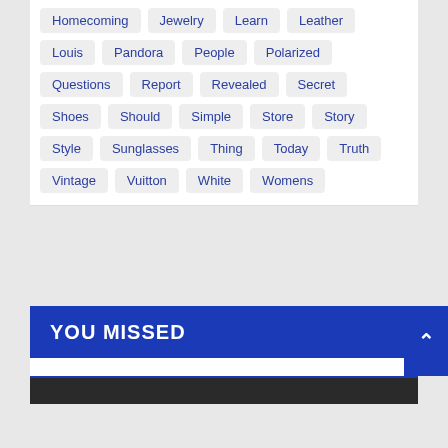Homecoming
Jewelry
Learn
Leather
Louis
Pandora
People
Polarized
Questions
Report
Revealed
Secret
Shoes
Should
Simple
Store
Story
Style
Sunglasses
Thing
Today
Truth
Vintage
Vuitton
White
Womens
YOU MISSED